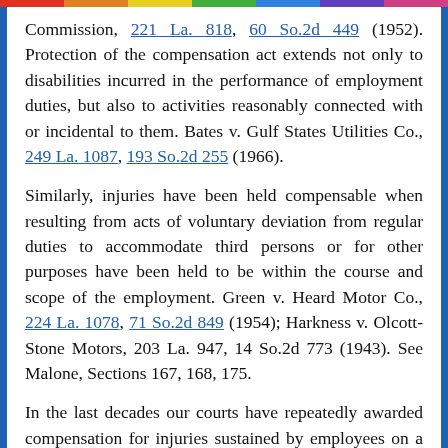Commission, 221 La. 818, 60 So.2d 449 (1952). Protection of the compensation act extends not only to disabilities incurred in the performance of employment duties, but also to activities reasonably connected with or incidental to them. Bates v. Gulf States Utilities Co., 249 La. 1087, 193 So.2d 255 (1966).
Similarly, injuries have been held compensable when resulting from acts of voluntary deviation from regular duties to accommodate third persons or for other purposes have been held to be within the course and scope of the employment. Green v. Heard Motor Co., 224 La. 1078, 71 So.2d 849 (1954); Harkness v. Olcott-Stone Motors, 203 La. 947, 14 So.2d 773 (1943). See Malone, Sections 167, 168, 175.
In the last decades our courts have repeatedly awarded compensation for injuries sustained by employees on a deviation from the place of